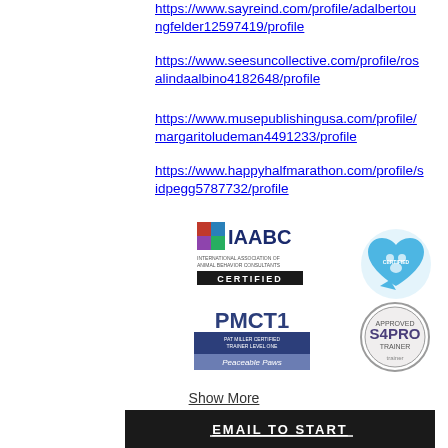https://www.sayreind.com/profile/adalbertodungfelder12597419/profile
https://www.seesuncollective.com/profile/rosalindaalbino4182648/profile
https://www.musepublishingusa.com/profile/margaritoludeman4491233/profile
https://www.happyhalfmarathon.com/profile/sidpegg5787732/profile
[Figure (logo): IAABC International Association of Animal Behavior Consultants Certified logo]
[Figure (logo): Heart-shaped paw print certification badge logo]
[Figure (logo): PMCT1 Pat Miller Certified Trainer Level One Peaceable Paws logo]
[Figure (logo): S4 Pro Trainer certification badge logo]
Show More
[Figure (screenshot): Dark banner with EMAIL TO START text, social media icons (Facebook, Pinterest, YouTube), heart with paw print logo, and TANZI LEARY, CDBC, CPDT-KA text]